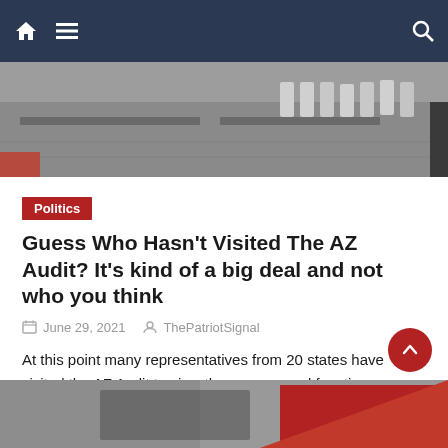Navigation bar with home icon, hamburger menu, and search icon
[Figure (photo): Top portion of an indoor venue showing tables and white folding chairs, appears to be an audit/counting facility]
Politics
Guess Who Hasn't Visited The AZ Audit? It's kind of a big deal and not who you think
June 29, 2021   ThePatriotSignal
At this point many representatives from 20 states have visited the AZ Audit to view the process and functions. Countless other officials and members of Government have also visited the audit and gave praise to the thoroughness and professionalism of throughout the entire process. However, there are a few key personnel who haven't visited the [...]
[Figure (photo): Bottom partial image showing a dark background with red elements, appears to be cropped at page bottom]